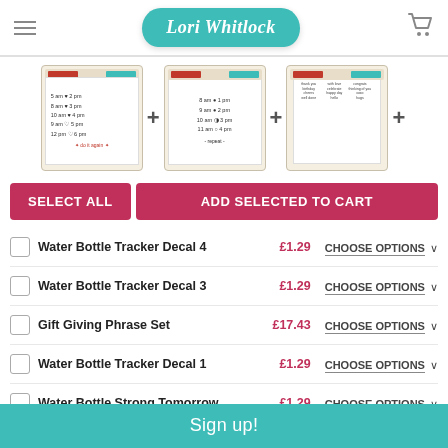Lori Whitlock
[Figure (photo): Three product images (Water Bottle Tracker Decal and Gift Giving Phrase Set stamps) separated by plus signs]
SELECT ALL | ADD SELECTED TO CART
Water Bottle Tracker Decal 4  £1.29  CHOOSE OPTIONS
Water Bottle Tracker Decal 3  £1.29  CHOOSE OPTIONS
Gift Giving Phrase Set  £17.43  CHOOSE OPTIONS
Water Bottle Tracker Decal 1  £1.29  CHOOSE OPTIONS
Water Bottle Strong Tomorrow  £1.29  CHOOSE OPTIONS
Sign up!